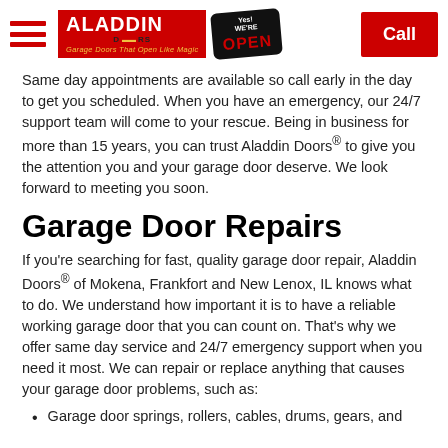Aladdin Doors — Yes We're Open — Call
Same day appointments are available so call early in the day to get you scheduled. When you have an emergency, our 24/7 support team will come to your rescue. Being in business for more than 15 years, you can trust Aladdin Doors® to give you the attention you and your garage door deserve. We look forward to meeting you soon.
Garage Door Repairs
If you're searching for fast, quality garage door repair, Aladdin Doors® of Mokena, Frankfort and New Lenox, IL knows what to do. We understand how important it is to have a reliable working garage door that you can count on. That's why we offer same day service and 24/7 emergency support when you need it most. We can repair or replace anything that causes your garage door problems, such as:
Garage door springs, rollers, cables, drums, gears, and